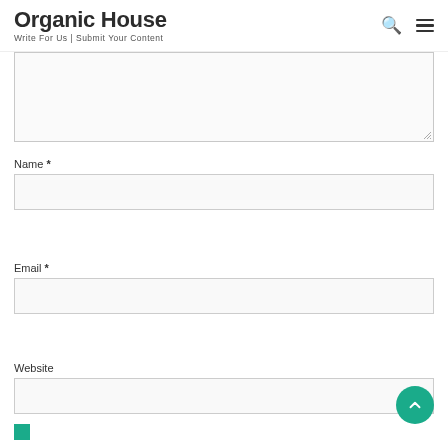Organic House
Write For Us | Submit Your Content
Name *
Email *
Website